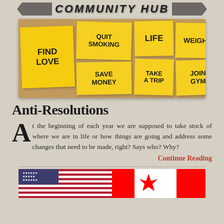COMMUNITY HUB
[Figure (photo): Cork board with yellow sticky notes reading: FIND LOVE, QUIT SMOKING, LIFE, WEIGHT, SAVE MONEY, TAKE A TRIP, JOIN GYM]
Anti-Resolutions
At the beginning of each year we are supposed to take stock of where we are in life or how things are going and address some changes that need to be made, right? Says who? Why?
Continue Reading
[Figure (photo): American and Canadian flags side by side]